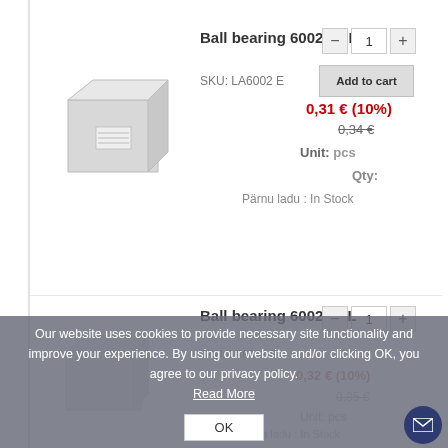Ball bearing 6002 EBI
SKU: LA6002 E
Add to cart
0,31 € (10%)
0,34 €
Unit: pcs
Qty:
Pärnu ladu : In Stock
Ball bearing 6002 PPL
Our website uses cookies to provide necessary site functionality and improve your experience. By using our website and/or clicking OK, you agree to our privacy policy. Read More
OK